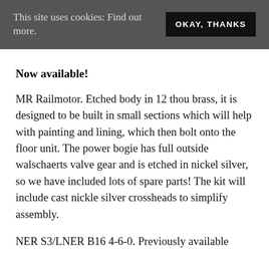This site uses cookies: Find out more.   OKAY, THANKS
Now available!
MR Railmotor. Etched body in 12 thou brass, it is designed to be built in small sections which will help with painting and lining, which then bolt onto the floor unit. The power bogie has full outside walschaerts valve gear and is etched in nickel silver, so we have included lots of spare parts! The kit will include cast nickle silver crossheads to simplify assembly.
NER S3/LNER B16 4-6-0. Previously available